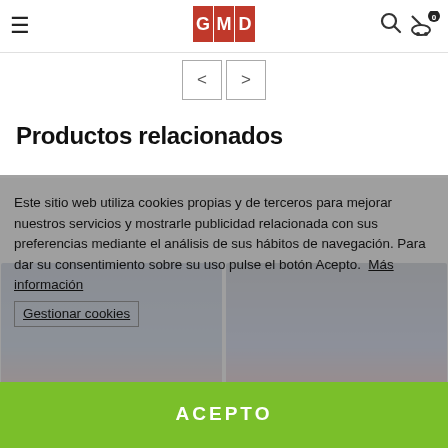Navigation header with hamburger menu, logo, search icon, and cart (0 items)
[Figure (screenshot): Previous and next navigation arrow buttons]
Productos relacionados
[Figure (photo): Product images area showing Blood Bowl game covers, partially visible]
Este sitio web utiliza cookies propias y de terceros para mejorar nuestros servicios y mostrarle publicidad relacionada con sus preferencias mediante el análisis de sus hábitos de navegación. Para dar su consentimiento sobre su uso pulse el botón Acepto.  Más información  Gestionar cookies
ACEPTO